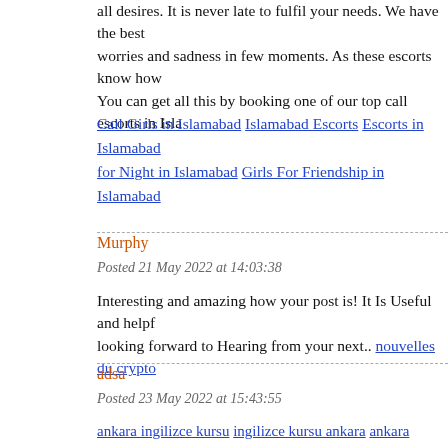all desires. It is never late to fulfil your needs. We have the best... worries and sadness in few moments. As these escorts know how... You can get all this by booking one of our top call escorts in Isl...
Call Girls in Islamabad Islamabad Escorts Escorts in Islamabad... for Night in Islamabad Girls For Friendship in Islamabad
Murphy
Posted 21 May 2022 at 14:03:38
Interesting and amazing how your post is! It Is Useful and helpf... looking forward to Hearing from your next.. nouvelles du crypto
adsa
Posted 23 May 2022 at 15:43:55
ankara ingilizce kursu ingilizce kursu ankara ankara ingilizce ku... kızılay kızılaydaki ingilizce kursları ingilizce öğrenmek istiyoru... için ne yapmalıyım ingilizce kursu özel ingilizce kursu Ankara e... ingilizce ingilizce öğrenmek için ne yapılmalı 0 dan İngilizce öğ... istiyorum İngilizce konuşmayı öğrenmek ingilizce öğrenmek ist... öğrenmek kısa sürede ingilizce öğrenmek ingilizce kursu Ankar... 2022 birebir ingilizce online ingilizce yüz yüze ingilizce yüz yü... Ankara ingilizce kursu tavsiye çocuklar için ingilizce kursu çoc... eğitim en iyi ingilizce kursu en iyi ingilizce kursları en iyi ingli... ankara ingilizce ingilizce ankara ingilizce ingilizce yaz kursu...